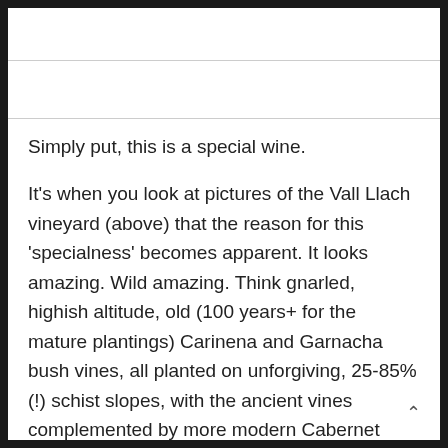Simply put, this is a special wine.
It's when you look at pictures of the Vall Llach vineyard (above) that the reason for this 'specialness' becomes apparent. It looks amazing. Wild amazing. Think gnarled, highish altitude, old (100 years+ for the mature plantings) Carinena and Garnacha bush vines, all planted on unforgiving, 25-85%(!) schist slopes, with the ancient vines complemented by more modern Cabernet Sauvignon, Merlot and Syrah planted on special rock terraces.